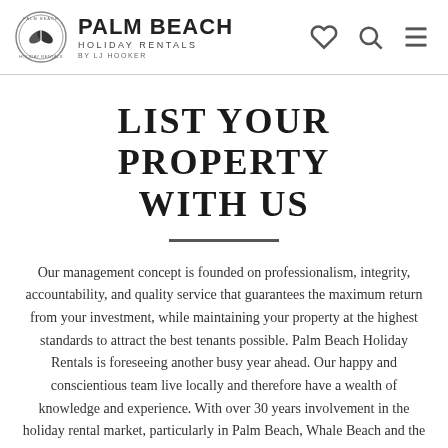PALM BEACH HOLIDAY RENTALS BY LJ HOOKER
LIST YOUR PROPERTY WITH US
Our management concept is founded on professionalism, integrity, accountability, and quality service that guarantees the maximum return from your investment, while maintaining your property at the highest standards to attract the best tenants possible. Palm Beach Holiday Rentals is foreseeing another busy year ahead. Our happy and conscientious team live locally and therefore have a wealth of knowledge and experience. With over 30 years involvement in the holiday rental market, particularly in Palm Beach, Whale Beach and the Northern Beaches, our experience is